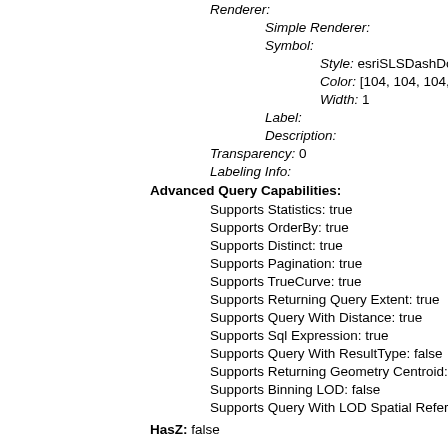Renderer:
Simple Renderer:
Symbol:
Style: esriSLSDashDot
Color: [104, 104, 104, 255]
Width: 1
Label:
Description:
Transparency: 0
Labeling Info:
Advanced Query Capabilities:
Supports Statistics: true
Supports OrderBy: true
Supports Distinct: true
Supports Pagination: true
Supports TrueCurve: true
Supports Returning Query Extent: true
Supports Query With Distance: true
Supports Sql Expression: true
Supports Query With ResultType: false
Supports Returning Geometry Centroid: false
Supports Binning LOD: false
Supports Query With LOD Spatial Reference: false
HasZ: false
HasM: false
Has Attachments: false